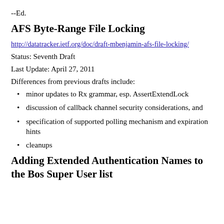--Ed.
AFS Byte-Range File Locking
http://datatracker.ietf.org/doc/draft-mbenjamin-afs-file-locking/
Status: Seventh Draft
Last Update: April 27, 2011
Differences from previous drafts include:
minor updates to Rx grammar, esp. AssertExtendLock
discussion of callback channel security considerations, and
specification of supported polling mechanism and expiration hints
cleanups
Adding Extended Authentication Names to the Bos Super User list